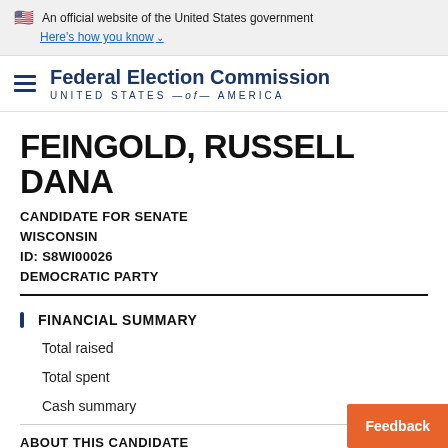An official website of the United States government Here's how you know
Federal Election Commission UNITED STATES — of — AMERICA
FEINGOLD, RUSSELL DANA
CANDIDATE FOR SENATE
WISCONSIN
ID: S8WI00026
DEMOCRATIC PARTY
FINANCIAL SUMMARY
Total raised
Total spent
Cash summary
ABOUT THIS CANDIDATE